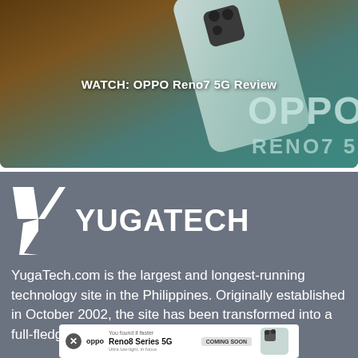[Figure (photo): OPPO Reno7 5G smartphone back view with gradient teal/silver finish, OPPO and RENO7 5G branding visible in bottom right corner. Warm brown background.]
WATCH: OPPO Reno7 5G Review
[Figure (logo): YugaTech logo — white geometric Y-arrow icon and YUGATECH wordmark on gray background]
YugaTech.com is the largest and longest-running technology site in the Philippines. Originally established in October 2002, the site has been transformed into a full-fledged technology site in 2005